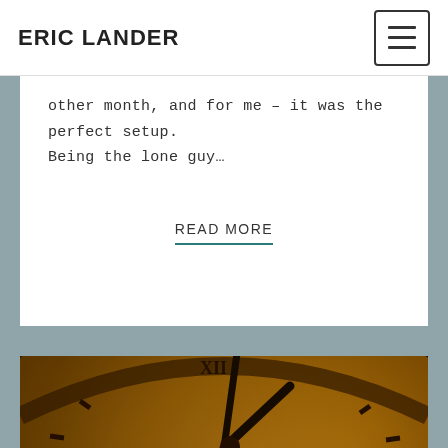ERIC LANDER
other month, and for me – it was the perfect setup. Being the lone guy…
READ MORE
[Figure (photo): Close-up photograph of an antique golden clock face with Roman numerals, showing clock hands pointing near midnight, with a dark dramatic background.]